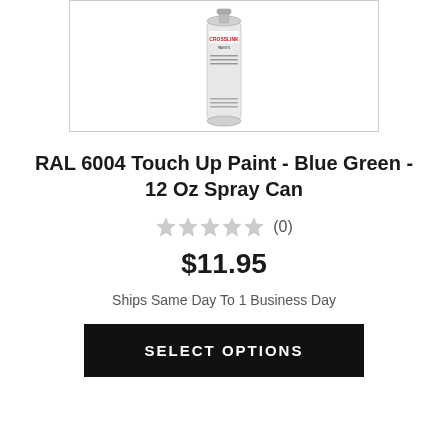[Figure (photo): Spray can of CROSSLINK RAL 6004 Blue Green touch up paint, white/light grey can with red logo text]
RAL 6004 Touch Up Paint - Blue Green - 12 Oz Spray Can
★★★★★ (0)
$11.95
Ships Same Day To 1 Business Day
SELECT OPTIONS